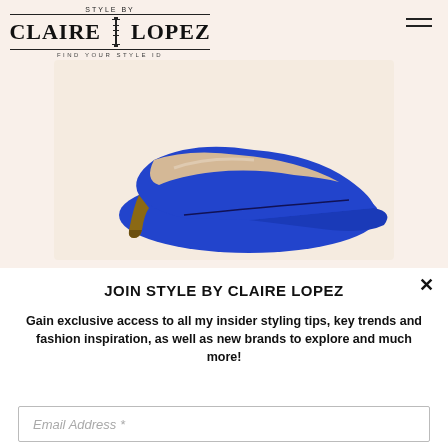[Figure (logo): Style By Claire Lopez logo with 'FIND YOUR STYLE ID' tagline]
[Figure (photo): A blue suede pointed-toe stiletto pump on a light beige/cream background]
JOIN STYLE BY CLAIRE LOPEZ
Gain exclusive access to all my insider styling tips, key trends and fashion inspiration, as well as new brands to explore and much more!
Email Address *